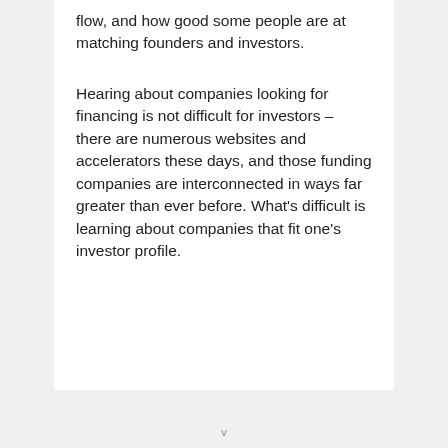flow, and how good some people are at matching founders and investors.
Hearing about companies looking for financing is not difficult for investors – there are numerous websites and accelerators these days, and those funding companies are interconnected in ways far greater than ever before. What's difficult is learning about companies that fit one's investor profile.
v